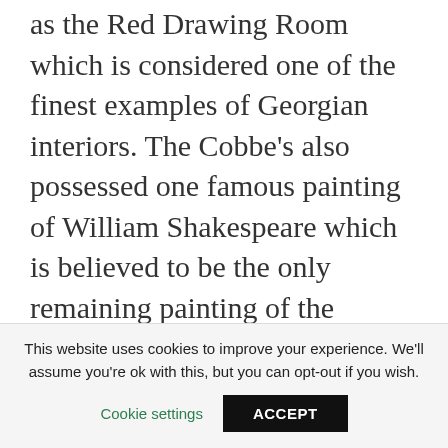as the Red Drawing Room which is considered one of the finest examples of Georgian interiors. The Cobbe's also possessed one famous painting of William Shakespeare which is believed to be the only remaining painting of the famous poet and writer. Debates still continue today on the authenticity of the painting, however many still believe it is a very real portrait of the late and great man.
Today the home also has a farm and a
This website uses cookies to improve your experience. We'll assume you're ok with this, but you can opt-out if you wish.
Cookie settings
ACCEPT